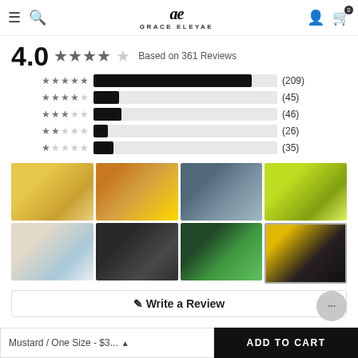GRACE ELEYAE
4.0 ★★★★☆ Based on 361 Reviews
[Figure (bar-chart): Star rating distribution]
[Figure (photo): Grid of 8 customer photos showing people wearing Grace Eleyae hair products]
✎ Write a Review
Mustard / One Size - $3... ▲    ADD TO CART